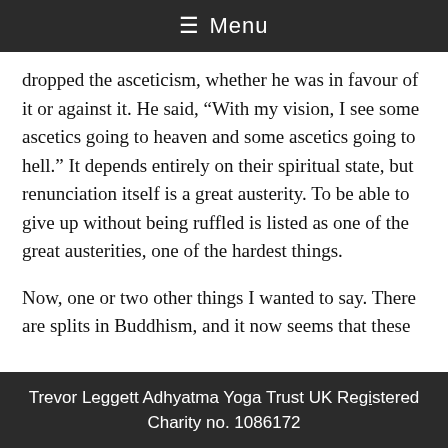≡ Menu
dropped the asceticism, whether he was in favour of it or against it. He said, “With my vision, I see some ascetics going to heaven and some ascetics going to hell.” It depends entirely on their spiritual state, but renunciation itself is a great austerity. To be able to give up without being ruffled is listed as one of the great austerities, one of the hardest things.
Now, one or two other things I wanted to say. There are splits in Buddhism, and it now seems that these
Trevor Leggett Adhyatma Yoga Trust UK Registered Charity no. 1086172